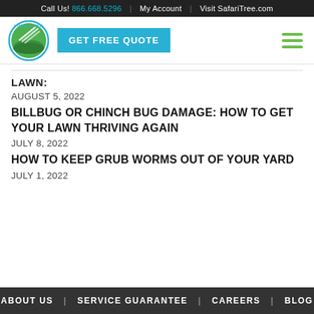Call Us! 866.668.5296 | My Account | Visit SafariTree.com
[Figure (logo): Lush Lawn circular logo with green landscape and diagonal lines]
GET FREE QUOTE
LAWN:
AUGUST 5, 2022
BILLBUG OR CHINCH BUG DAMAGE: HOW TO GET YOUR LAWN THRIVING AGAIN
JULY 8, 2022
HOW TO KEEP GRUB WORMS OUT OF YOUR YARD
JULY 1, 2022
ABOUT US | SERVICE GUARANTEE | CAREERS | BLOG